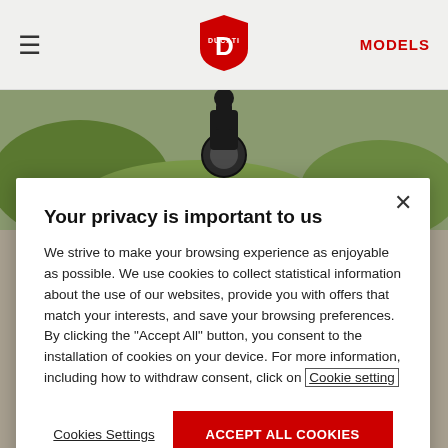≡  DUCATI [logo]  MODELS
[Figure (photo): Motorcycle riding on a gravel/dirt road with greenery in background]
Your privacy is important to us
We strive to make your browsing experience as enjoyable as possible. We use cookies to collect statistical information about the use of our websites, provide you with offers that match your interests, and save your browsing preferences. By clicking the "Accept All" button, you consent to the installation of cookies on your device. For more information, including how to withdraw consent, click on Cookie setting
Cookies Settings
ACCEPT ALL COOKIES